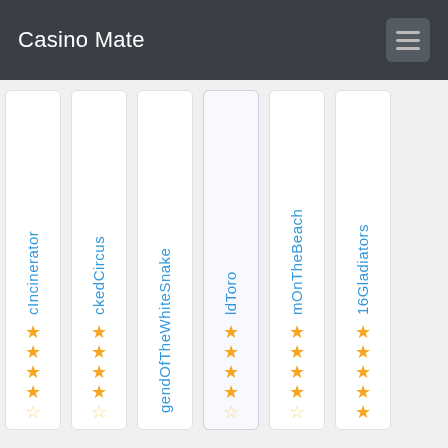Casino Mate
cIncinerator — 4.5 stars
ckedCircus — 4.5 stars
gendOfTheWhiteSnake — partial
ldToro — 4.5 stars
mOnTheBeach — 4.5 stars
16Gladiators — 5 stars